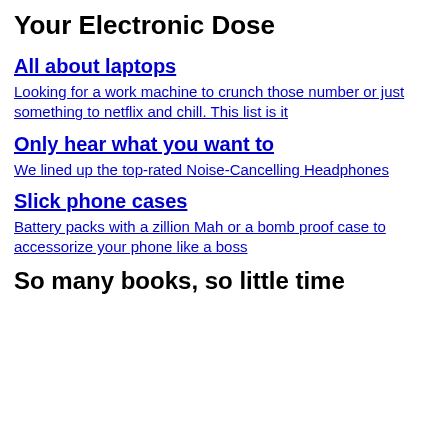Your Electronic Dose
All about laptops
Looking for a work machine to crunch those number or just something to netflix and chill. This list is it
Only hear what you want to
We lined up the top-rated Noise-Cancelling Headphones
Slick phone cases
Battery packs with a zillion Mah or a bomb proof case to accessorize your phone like a boss
So many books, so little time